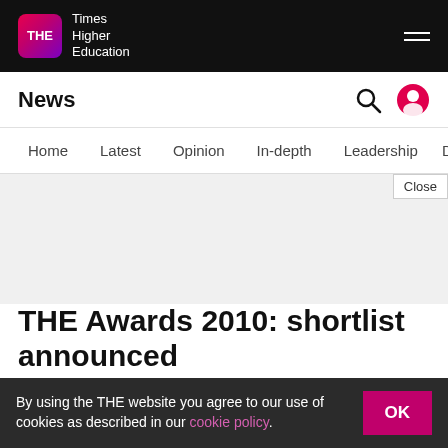THE Times Higher Education
News
Home
Latest
Opinion
In-depth
Leadership
THE Awards 2010: shortlist announced
The shortlisted candidates for the Times Higher Education Awards 2010 are unveiled this week. There were almost 500 entries across the 18
By using the THE website you agree to our use of cookies as described in our cookie policy.